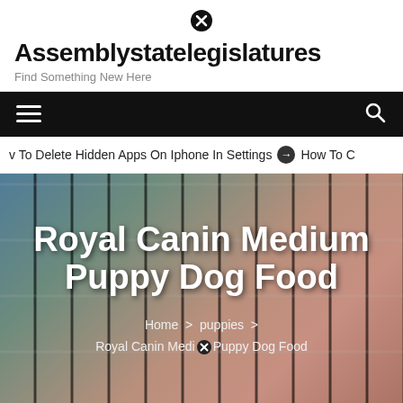Assemblystatelegislatures
Find Something New Here
[Figure (screenshot): Website navigation bar with hamburger menu icon on left and search icon on right, black background]
v To Delete Hidden Apps On Iphone In Settings  ➡ How To C
[Figure (photo): Hero image showing dental braces close-up with overlaid article title 'Royal Canin Medium Puppy Dog Food' and breadcrumb navigation 'Home > puppies > Royal Canin Medium Puppy Dog Food']